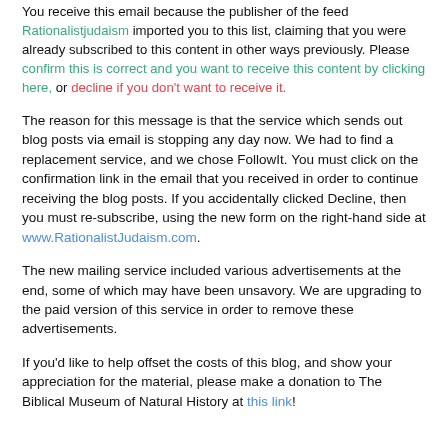You receive this email because the publisher of the feed Rationalistjudaism imported you to this list, claiming that you were already subscribed to this content in other ways previously. Please confirm this is correct and you want to receive this content by clicking here, or decline if you don't want to receive it.
The reason for this message is that the service which sends out blog posts via email is stopping any day now. We had to find a replacement service, and we chose FollowIt. You must click on the confirmation link in the email that you received in order to continue receiving the blog posts. If you accidentally clicked Decline, then you must re-subscribe, using the new form on the right-hand side at www.RationalistJudaism.com.
The new mailing service included various advertisements at the end, some of which may have been unsavory. We are upgrading to the paid version of this service in order to remove these advertisements.
If you'd like to help offset the costs of this blog, and show your appreciation for the material, please make a donation to The Biblical Museum of Natural History at this link!